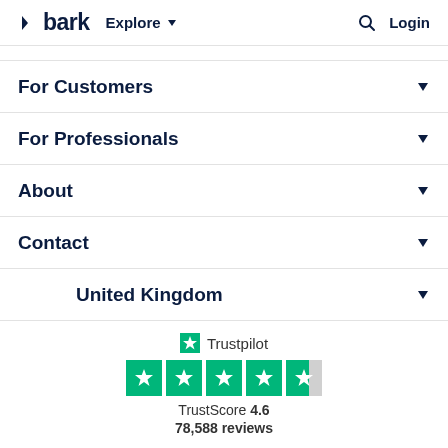bark  Explore  Login
For Customers
For Professionals
About
Contact
United Kingdom
[Figure (logo): Trustpilot logo with 4.6 star rating and 78,588 reviews. Five green star squares shown with the last star partially filled. TrustScore 4.6, 78,588 reviews.]